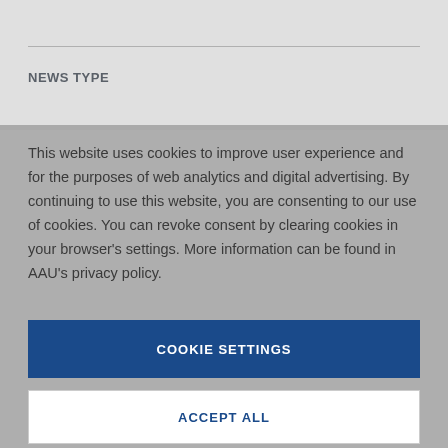NEWS TYPE
This website uses cookies to improve user experience and for the purposes of web analytics and digital advertising. By continuing to use this website, you are consenting to our use of cookies. You can revoke consent by clearing cookies in your browser’s settings. More information can be found in AAU’s privacy policy.
COOKIE SETTINGS
ACCEPT ALL